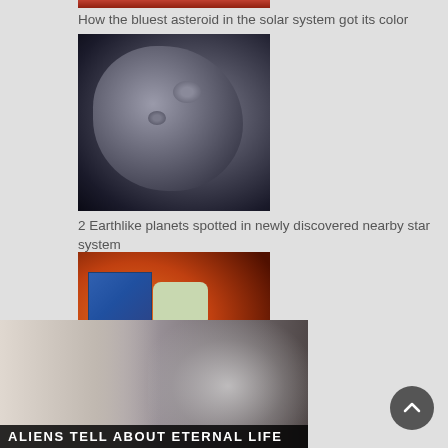[Figure (photo): Partially cropped colored image at very top (article thumbnail)]
How the bluest asteroid in the solar system got its color
[Figure (photo): Close-up photo of a dark, rocky asteroid against a dark background]
2 Earthlike planets spotted in newly discovered nearby star system
[Figure (photo): Illustration of a satellite spacecraft with solar panels against an orange/red planet background]
[Figure (photo): Ad banner showing a woman's face and smoky scene with text ALIENS TELL ABOUT ETERNAL LIFE]